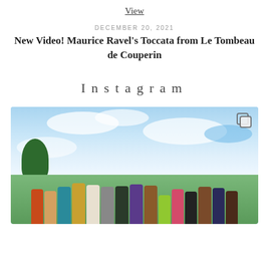View
DECEMBER 20, 2021
New Video! Maurice Ravel's Toccata from Le Tombeau de Couperin
Instagram
[Figure (photo): Group photo of approximately 16 people standing outdoors against a partly cloudy blue sky, with trees visible in the background. A small Instagram multi-image icon appears in the top-right corner of the photo.]